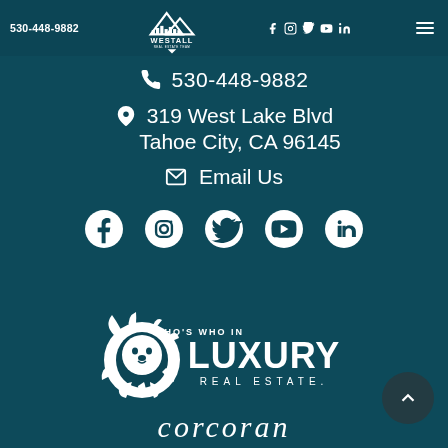530-448-9882 | Westall Real Estate Team | [social icons] | [menu]
📞 530-448-9882
📍 319 West Lake Blvd
Tahoe City, CA 96145
✉ Email Us
[Figure (infographic): Social media icons: Facebook, Instagram, Twitter, YouTube, LinkedIn]
[Figure (logo): Who's Who in Luxury Real Estate logo with lion head]
corcoran